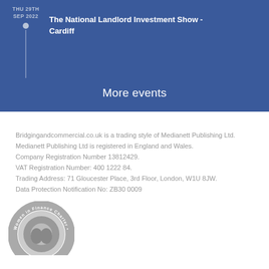THU 29TH SEP 2022 — The National Landlord Investment Show - Cardiff
More events
Bridgingandcommercial.co.uk is a trading style of Medianett Publishing Ltd.
Medianett Publishing Ltd is registered in England and Wales.
Company Registration Number 13812429.
VAT Registration Number: 400 1222 84.
Trading Address: 71 Gloucester Place, 3rd Floor, London, W1U 8JW.
Data Protection Notification No: ZB30 0009
[Figure (logo): Women in Finance Charter circular badge/seal in grayscale]